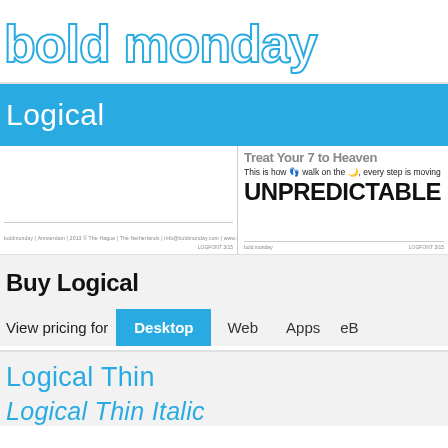bold monday
Logical
[Figure (screenshot): Two font specimen preview panels side by side. Left panel shows footer text. Right panel shows 'Treat Your 7 to Heaven', 'This is how walk on the, every step is moving', and 'UNPREDICTABLE' in bold.]
Buy Logical
View pricing for  Desktop  Web  Apps  eB
Logical Thin
Logical Thin Italic